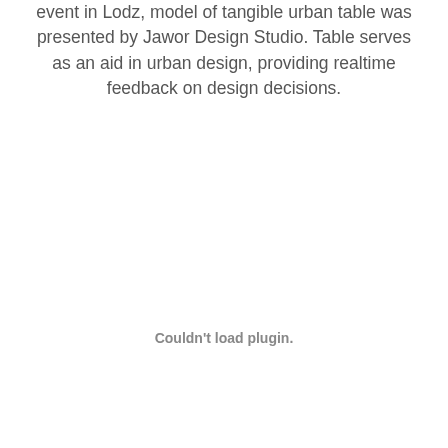event in Lodz, model of tangible urban table was presented by Jawor Design Studio. Table serves as an aid in urban design, providing realtime feedback on design decisions.
Couldn't load plugin.